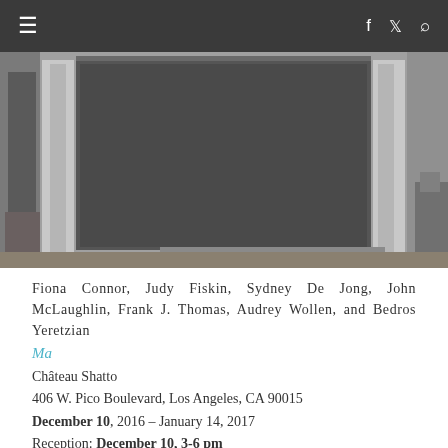≡  f  🐦  🔍
[Figure (photo): Black and white photograph of an artwork or architectural element featuring a dark rectangular panel with light-colored side panels or frames, mounted or positioned outdoors]
Fiona Connor, Judy Fiskin, Sydney De Jong, John McLaughlin, Frank J. Thomas, Audrey Wollen, and Bedros Yeretzian
Ma
Château Shatto
406 W. Pico Boulevard, Los Angeles, CA 90015
December 10, 2016 – January 14, 2017
Reception: December 10, 3-6 pm
Presentations by Fiona Connor and Audrey Wollen: December 17, January 7, January 14 (2 pm each day)